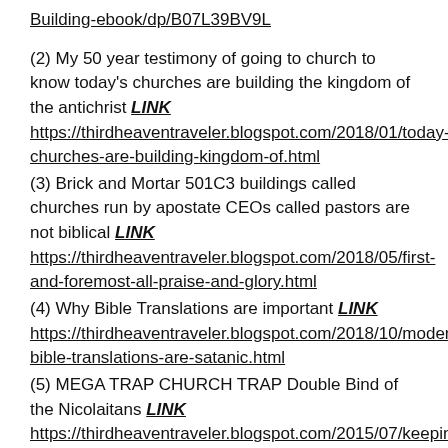Building-ebook/dp/B07L39BV9L
(2) My 50 year testimony of going to church to know today's churches are building the kingdom of the antichrist LINK https://thirdheaventraveler.blogspot.com/2018/01/today-churches-are-building-kingdom-of.html
(3) Brick and Mortar 501C3 buildings called churches run by apostate CEOs called pastors are not biblical LINK https://thirdheaventraveler.blogspot.com/2018/05/first-and-foremost-all-praise-and-glory.html
(4) Why Bible Translations are important LINK https://thirdheaventraveler.blogspot.com/2018/10/modern-bible-translations-are-satanic.html
(5) MEGA TRAP CHURCH TRAP Double Bind of the Nicolaitans LINK https://thirdheaventraveler.blogspot.com/2015/07/keeping-vs-kept-law-keeping-vs-gospel.html